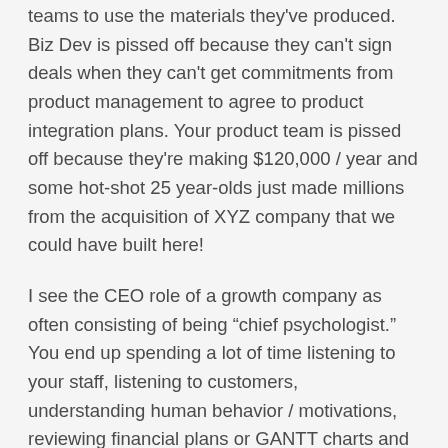teams to use the materials they've produced.  Biz Dev is pissed off because they can't sign deals when they can't get commitments from product management to agree to product integration plans.  Your product team is pissed off because they're making $120,000 / year and some hot-shot 25 year-olds just made millions from the acquisition of XYZ company that we could have built here!
I see the CEO role of a growth company as often consisting of being "chief psychologist."  You end up spending a lot of time listening to your staff, listening to customers, understanding human behavior / motivations, reviewing financial plans or GANTT charts and then having to make tough decisions because the one factor we ALL suffer from is limited resources.  Yes, even Google has to make these tough decisions about where to allocate staff and money.